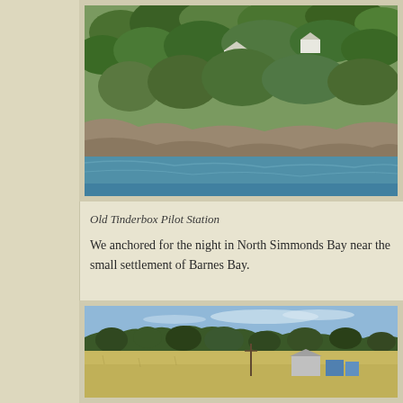[Figure (photo): Aerial/water-level view of a hillside covered in dense native Australian scrub and trees, with white buildings visible among the vegetation, rocky shoreline at the bottom with clear blue water in the foreground. Old Tinderbox Pilot Station area.]
Old Tinderbox Pilot Station
We anchored for the night in North Simmonds Bay near the small settlement of Barnes Bay.
[Figure (photo): Landscape photo of an open grassy paddock with scattered eucalyptus trees on the horizon, blue sky with light clouds above, and farm buildings including a shed visible in the middle distance. Barnes Bay area, Tasmania.]